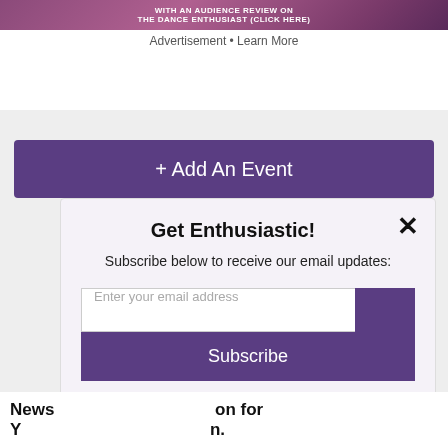[Figure (photo): Dance enthusiast promotional banner with dancers on a purple/pink background and text 'WITH AN AUDIENCE REVIEW ON THE DANCE ENTHUSIAST (CLICK HERE)']
Advertisement • Learn More
+ Add An Event
Get Enthusiastic!
Subscribe below to receive our email updates:
Enter your email address
Subscribe
News                                          on for Y                                         n.